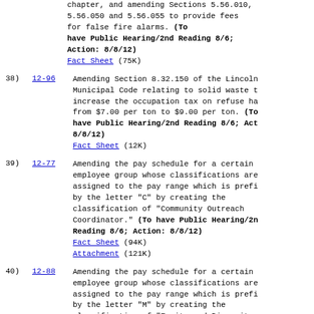(continuation) chapter, and amending Sections 5.56.010, 5.56.050 and 5.56.055 to provide fees for false fire alarms. (To have Public Hearing/2nd Reading 8/6; Action: 8/8/12) Fact Sheet (75K)
38) 12-96 Amending Section 8.32.150 of the Lincoln Municipal Code relating to solid waste to increase the occupation tax on refuse haulers from $7.00 per ton to $9.00 per ton. (To have Public Hearing/2nd Reading 8/6; Action: 8/8/12) Fact Sheet (12K)
39) 12-77 Amending the pay schedule for a certain employee group whose classifications are assigned to the pay range which is prefixed by the letter "C" by creating the classification of "Community Outreach Coordinator." (To have Public Hearing/2nd Reading 8/6; Action: 8/8/12) Fact Sheet (94K) Attachment (121K)
40) 12-88 Amending the pay schedule for a certain employee group whose classifications are assigned to the pay range which is prefixed by the letter "M" by creating the classification of "Equity and Diversity Officer." (To have Public Hearing/2nd Reading...